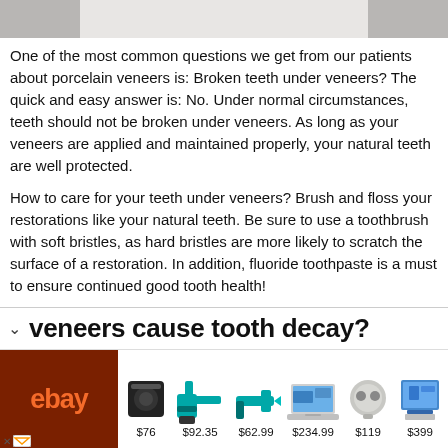[Figure (photo): Top portion of a person in white clothing, cropped]
One of the most common questions we get from our patients about porcelain veneers is: Broken teeth under veneers? The quick and easy answer is: No. Under normal circumstances, teeth should not be broken under veneers. As long as your veneers are applied and maintained properly, your natural teeth are well protected.
How to care for your teeth under veneers? Brush and floss your restorations like your natural teeth. Be sure to use a toothbrush with soft bristles, as hard bristles are more likely to scratch the surface of a restoration. In addition, fluoride toothpaste is a must to ensure continued good tooth health!
veneers cause tooth decay?
[Figure (infographic): eBay advertisement banner showing products: Bose speaker ($76), Makita drill kit ($92.35), Makita tool ($62.99), laptop ($234.99), Samsung earbuds case ($119), tablet/laptop ($399)]